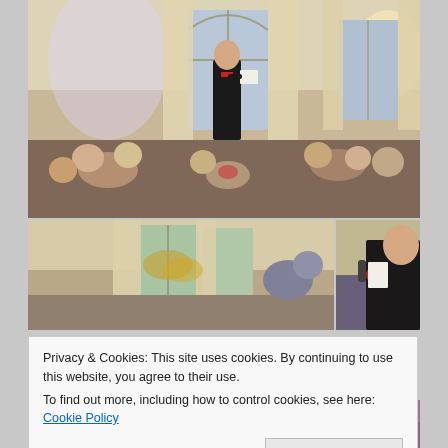[Figure (photo): Indoor wedding reception scene. A man in a black tuxedo with red bow tie and red pocket square stands at the head of the room giving a speech, holding papers. Seated guests at round tables look on, many smiling. The room has tall windows with cream drapes and wall sconces.]
[Figure (photo): Lower left photo: Same wedding reception venue showing the windows and curtains with autumn foliage visible outside.]
[Figure (photo): Lower right photo: Close-up of the man in the tuxedo from the side, reading from papers, holding a red flower boutonniere visible.]
[Figure (photo): Bottom strip left: Partial view of wedding reception with red decorations.]
[Figure (photo): Bottom strip right: Partial view of wedding reception scene.]
Privacy & Cookies: This site uses cookies. By continuing to use this website, you agree to their use.
To find out more, including how to control cookies, see here: Cookie Policy
Close and accept